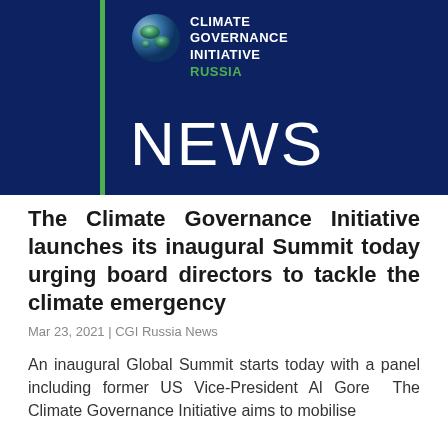[Figure (logo): Climate Governance Initiative Russia logo with globe graphic on dark blue background with green left bar and NEWS text]
The Climate Governance Initiative launches its inaugural Summit today urging board directors to tackle the climate emergency
Mar 23, 2021 | CGI Russia News
An inaugural Global Summit starts today with a panel including former US Vice-President Al Gore The Climate Governance Initiative aims to mobilise